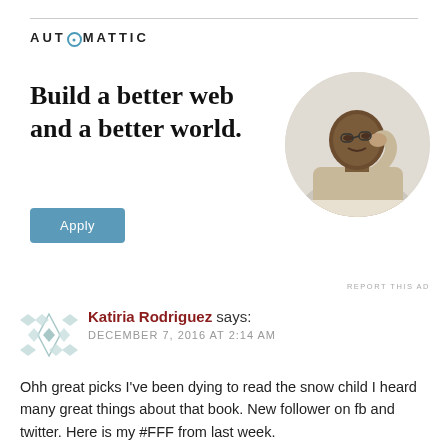[Figure (logo): Automattic logo with compass/circle icon replacing the 'O']
Build a better web and a better world.
[Figure (illustration): Circular cropped photo of a Black man in a beige shirt, resting his hand on his chin thoughtfully, looking upward]
Apply
REPORT THIS AD
[Figure (illustration): Decorative geometric avatar/icon for commenter Katiria Rodriguez]
Katiria Rodriguez says: DECEMBER 7, 2016 AT 2:14 AM
Ohh great picks I've been dying to read the snow child I heard many great things about that book. New follower on fb and twitter. Here is my #FFF from last week.